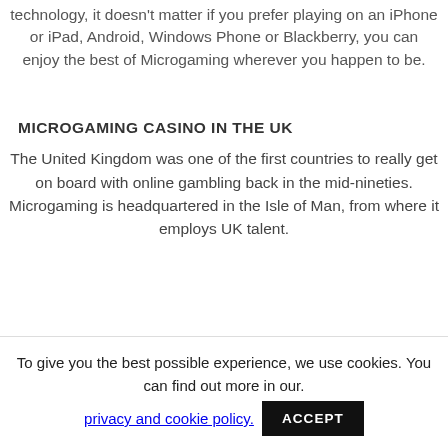technology, it doesn't matter if you prefer playing on an iPhone or iPad, Android, Windows Phone or Blackberry, you can enjoy the best of Microgaming wherever you happen to be.
MICROGAMING CASINO IN THE UK
The United Kingdom was one of the first countries to really get on board with online gambling back in the mid-nineties. Microgaming is headquartered in the Isle of Man, from where it employs UK talent.
To give you the best possible experience, we use cookies. You can find out more in our. privacy and cookie policy. ACCEPT